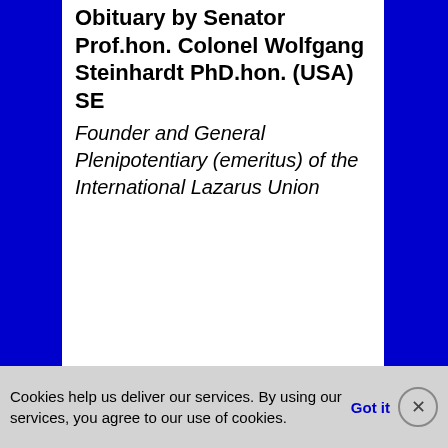Obituary by Senator Prof.hon. Colonel Wolfgang Steinhardt PhD.hon. (USA) SE
Founder and General Plenipotentiary (emeritus) of the International Lazarus Union
Cookies help us deliver our services. By using our services, you agree to our use of cookies. Got it